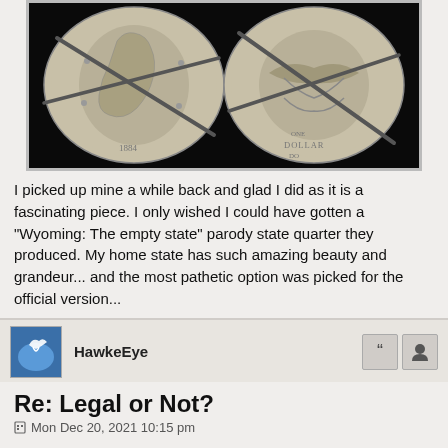[Figure (photo): Two Morgan silver dollars side by side on a black background, both showing damage/cuts across them. Left coin shows the obverse (face side), right coin shows the reverse (eagle side).]
I picked up mine a while back and glad I did as it is a fascinating piece. I only wished I could have gotten a "Wyoming: The empty state" parody state quarter they produced. My home state has such amazing beauty and grandeur... and the most pathetic option was picked for the official version...
HawkeEye
Re: Legal or Not?
Mon Dec 20, 2021 10:15 pm
Heck, the Georgia state quarter used the wrong map. They chopped off the northwestern most county because